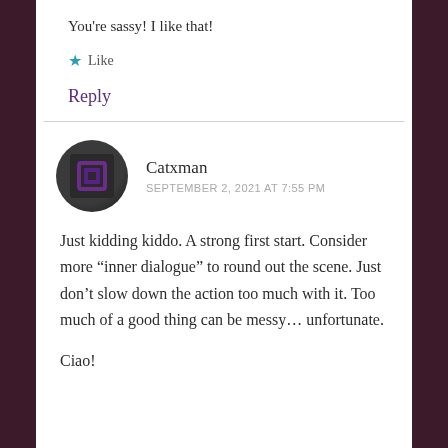You’re sassy! I like that!
★ Like
Reply
Catxman
SEPTEMBER 2, 2021 AT 7:55 PM
Just kidding kiddo. A strong first start. Consider more “inner dialogue” to round out the scene. Just don’t slow down the action too much with it. Too much of a good thing can be messy… unfortunate.
Ciao!